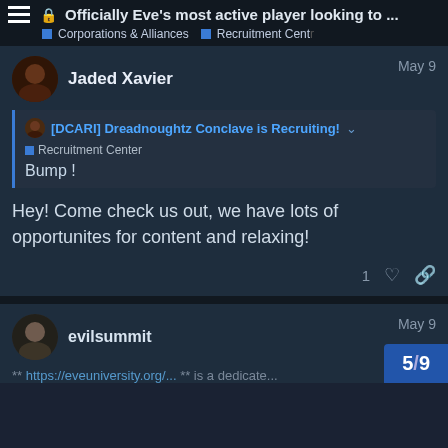Officially Eve's most active player looking to ... | Corporations & Alliances | Recruitment Center
Jaded Xavier — May 9
[DCARI] Dreadnoughtz Conclave is Recruiting! | Recruitment Center | Bump !
Hey! Come check us out, we have lots of opportunites for content and relaxing!
evilsummit — May 9
5/9